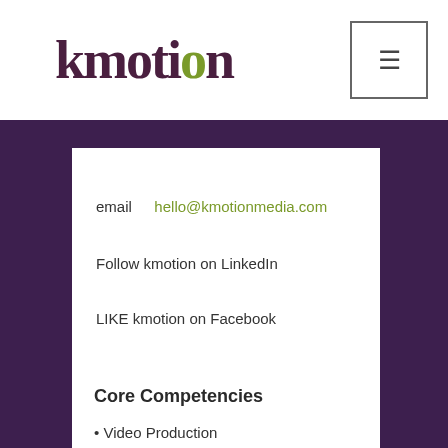[Figure (logo): kmotion logo with stylized text, 'o' in olive green, rest in dark purple]
email   hello@kmotionmedia.com
Follow kmotion on LinkedIn
LIKE kmotion on Facebook
Core Competencies
• Video Production